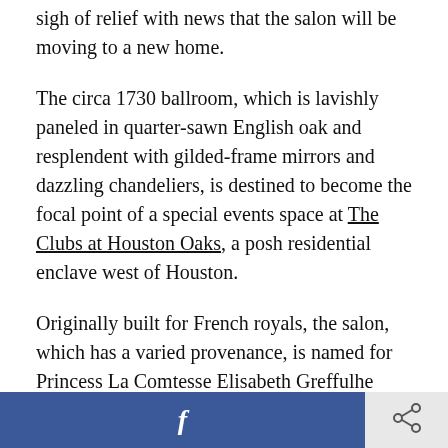sigh of relief with news that the salon will be moving to a new home.
The circa 1730 ballroom, which is lavishly paneled in quarter-sawn English oak and resplendent with gilded-frame mirrors and dazzling chandeliers, is destined to become the focal point of a special events space at The Clubs at Houston Oaks, a posh residential enclave west of Houston.
Originally built for French royals, the salon, which has a varied provenance, is named for Princess La Comtesse Elisabeth Greffulhe who installed it in her husband's hunting lodge in 1891. Jump ahead to the mid-20th century and noted Texas wildcatter John
[Figure (other): Bottom navigation bar with Facebook share button (blue) and a share/network icon button (light gray)]